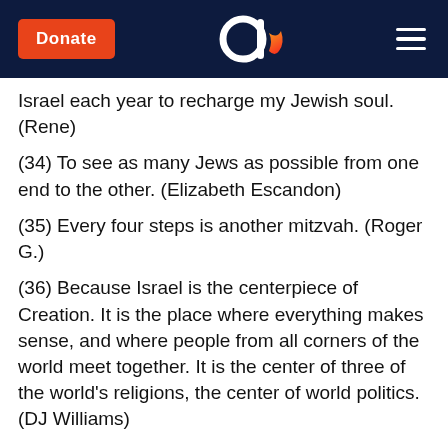Donate | Aish.com logo | Menu
Israel each year to recharge my Jewish soul. (Rene)
(34) To see as many Jews as possible from one end to the other. (Elizabeth Escandon)
(35) Every four steps is another mitzvah. (Roger G.)
(36) Because Israel is the centerpiece of Creation. It is the place where everything makes sense, and where people from all corners of the world meet together. It is the center of three of the world's religions, the center of world politics. (DJ Williams)
(37) The best reason to visit is because, I have never been there. I only viewed it via Aish.com's Western Wall camera. (Joy B.)